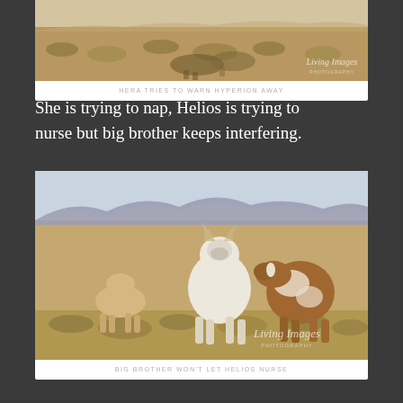[Figure (photo): Wild horses in sagebrush landscape, top photo card]
HERA TRIES TO WARN HYPERION AWAY
She is trying to nap, Helios is trying to nurse but big brother keeps interfering.
[Figure (photo): Three wild horses including palomino and paint standing on hillside with mountains in background]
BIG BROTHER WON'T LET HELIOS NURSE